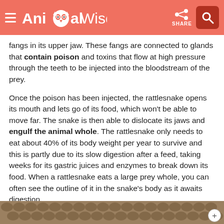AnimalWised
fangs in its upper jaw. These fangs are connected to glands that contain poison and toxins that flow at high pressure through the teeth to be injected into the bloodstream of the prey.
Once the poison has been injected, the rattlesnake opens its mouth and lets go of its food, which won't be able to move far. The snake is then able to dislocate its jaws and engulf the animal whole. The rattlesnake only needs to eat about 40% of its body weight per year to survive and this is partly due to its slow digestion after a feed, taking weeks for its gastric juices and enzymes to break down its food. When a rattlesnake eats a large prey whole, you can often see the outline of it in the snake's body as it awaits digestion.
[Figure (photo): Close-up photo of rattlesnake scales at the bottom of the page]